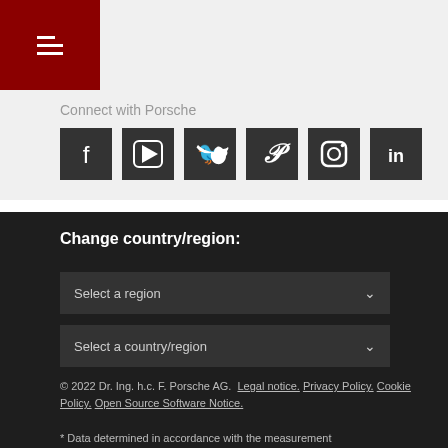[Figure (logo): Hamburger menu icon on dark red background]
Connect with Porsche
[Figure (infographic): Social media icons: Facebook, YouTube, Twitter, Pinterest, Instagram, LinkedIn on dark square backgrounds]
Change country/region:
Select a region (dropdown)
Select a country/region (dropdown)
© 2022 Dr. Ing. h.c. F. Porsche AG. Legal notice. Privacy Policy. Cookie Policy. Open Source Software Notice.
* Data determined in accordance with the measurement